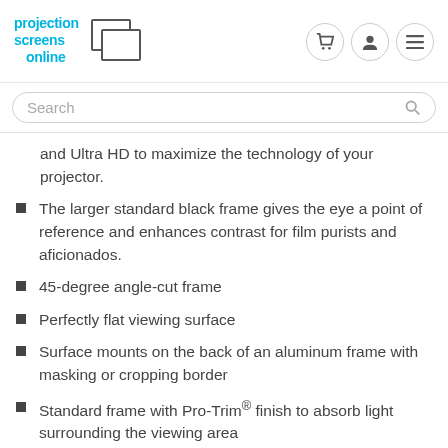[Figure (logo): Projection Screens Online logo with stylized blue text and screen icon]
Search
and Ultra HD to maximize the technology of your projector.
The larger standard black frame gives the eye a point of reference and enhances contrast for film purists and aficionados.
45-degree angle-cut frame
Perfectly flat viewing surface
Surface mounts on the back of an aluminum frame with masking or cropping border
Standard frame with Pro-Trim® finish to absorb light surrounding the viewing area
Standard black backing on screen surfaces retains projected brightness
Contact us for a quotation on custom sizes,